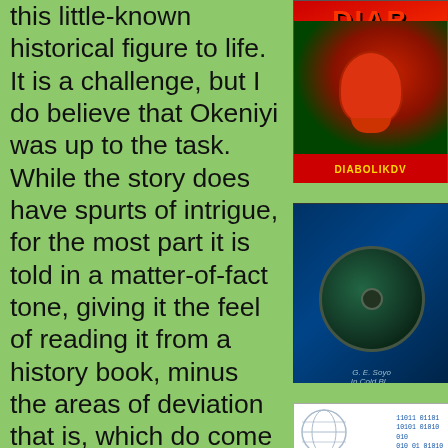this little-known historical figure to life. It is a challenge, but I do believe that Okeniyi was up to the task. While the story does have spurts of intrigue, for the most part it is told in a matter-of-fact tone, giving it the feel of reading it from a history book, minus the areas of deviation that is, which do come off as fantastical at times. Okeniyi is joined by Naturi Naughton (Power), Kat Graham (The Vampire Diaries), Harry Lennix (The Blacklist) as Frederick Douglass, and James Cromwell as John Brown.
[Figure (photo): Book/DVD cover with red DIABOLIK text on green background with devil figure]
[Figure (photo): Dark green CD or book cover with circular design, text reading G.E. Somyo In Cold Bl...]
[Figure (photo): Globe illustration overlaid with blue binary code digits on white background]